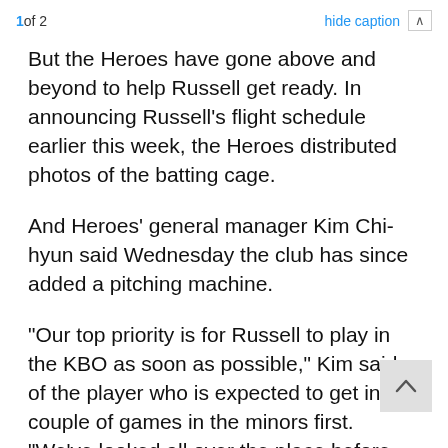1of 2    hide caption  ∧
But the Heroes have gone above and beyond to help Russell get ready. In announcing Russell's flight schedule earlier this week, the Heroes distributed photos of the batting cage.
And Heroes' general manager Kim Chi-hyun said Wednesday the club has since added a pitching machine.
"Our top priority is for Russell to play in the KBO as soon as possible," Kim said of the player who is expected to get into a couple of games in the minors first. "We've looked all over the place before settling on that location in Yangpyeong. Even though he'll only be there for two weeks, we've already paid the rent for a full month."